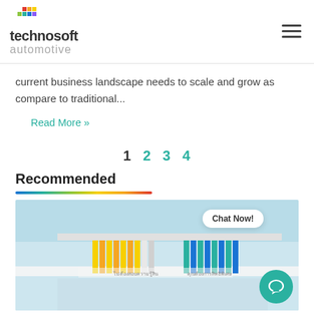technosoft automotive
current business landscape needs to scale and grow as compare to traditional...
Read More »
1  2  3  4
Recommended
[Figure (photo): Exterior view of a building/dealership with colorful vertical panels and Thai signage, used as a recommended section image. Chat Now! button overlay visible.]